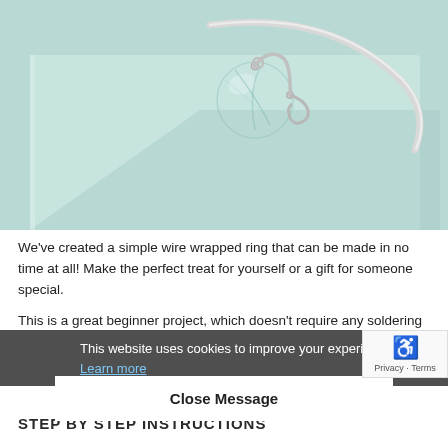[Figure (photo): Close-up photo of a wire-wrapped ring with a round teal/mint fluorite bead, set on a light mint-green surface. Silver wire wraps around the bead, with a curved silver wire ring band visible.]
We've created a simple wire wrapped ring that can be made in no time at all! Make the perfect treat for yourself or a gift for someone special.
This is a great beginner project, which doesn't require any soldering
This website uses cookies to improve your experience. Learn more
Close Message
STEP BY STEP INSTRUCTIONS